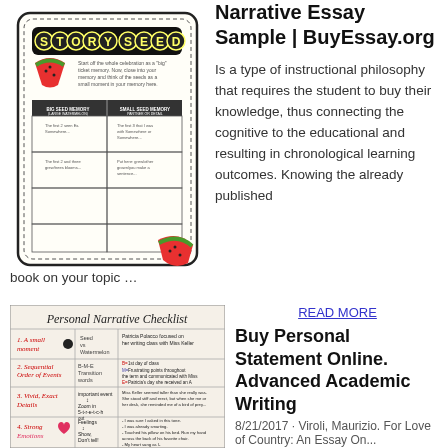[Figure (illustration): Story Seeds worksheet illustration with watermelon graphic and a table for big seed memory and small seed memory partners]
Narrative Essay Sample | BuyEssay.org
Is a type of instructional philosophy that requires the student to buy their knowledge, thus connecting the cognitive to the educational and resulting in chronological learning outcomes. Knowing the already published book on your topic …
[Figure (photo): Personal Narrative Checklist anchor chart with sections: 1. A small moment, 2. Sequential Order of Events, 3. Vivid Exact Details, 4. Strong Emotions]
READ MORE
Buy Personal Statement Online. Advanced Academic Writing
8/21/2017 · Viroli, Maurizio. For Love of Country: An Essay On...